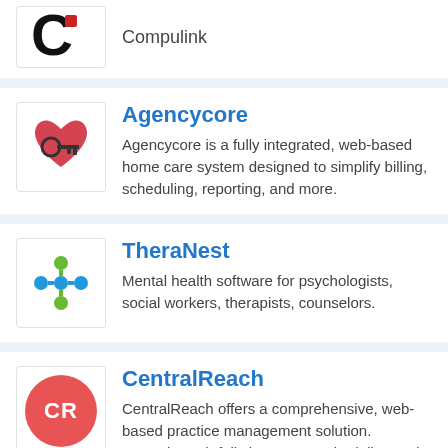[Figure (logo): Compulink logo - partial C letter in black/red]
Compulink
[Figure (logo): Agencycore logo - heart with key icon]
Agencycore
Agencycore is a fully integrated, web-based home care system designed to simplify billing, scheduling, reporting, and more.
[Figure (logo): TheraNest logo - colorful flower/cross pattern with blue and green dots]
TheraNest
Mental health software for psychologists, social workers, therapists, counselors.
[Figure (logo): CentralReach logo - pink/red circle with CR initials in white]
CentralReach
CentralReach offers a comprehensive, web-based practice management solution. CentralReach fully integrates scheduling and billing tasks.